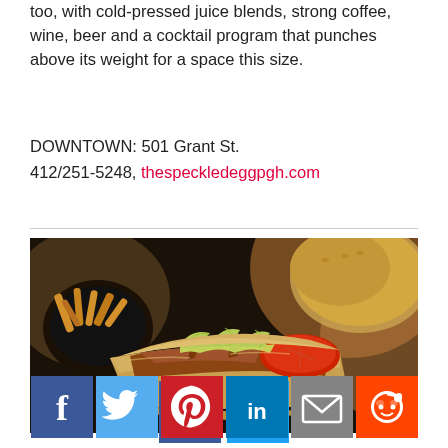too, with cold-pressed juice blends, strong coffee, wine, beer and a cocktail program that punches above its weight for a space this size.
DOWNTOWN: 501 Grant St. 412/251-5248, thespeckledeggpgh.com
[Figure (photo): Close-up photo of a sandwich with fried chicken, shredded lettuce, tomato on a hoagie roll, with fries in background]
[Figure (infographic): Social sharing buttons: Facebook (blue), Twitter (light blue), Pinterest (red), LinkedIn (blue), Email (gray), Reddit (orange)]